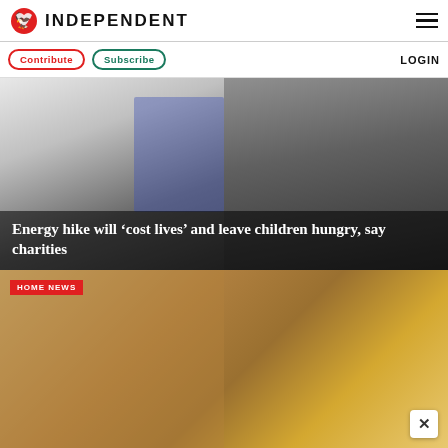INDEPENDENT
Contribute  Subscribe  LOGIN
[Figure (photo): Grayscale photo of two people, hands clasped, one in a white shirt and one in a dark jacket, with blue accents in the background. Headline overlay: Energy hike will 'cost lives' and leave children hungry, say charities]
Energy hike will ‘cost lives’ and leave children hungry, say charities
[Figure (photo): Blurred background image with warm brown and golden tones; red HOME NEWS tag in the top left corner; close button (×) at the bottom right]